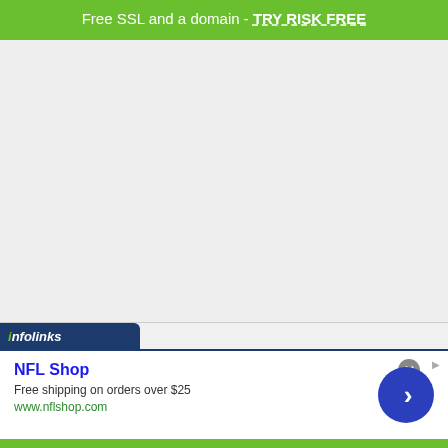Free SSL and a domain - TRY RISK FREE
[Figure (other): Large gray empty content area, likely a webpage body placeholder]
[Figure (screenshot): Infolinks advertisement overlay showing NFL Shop ad: 'Free shipping on orders over $25', 'www.nflshop.com', with a blue circular arrow button and a close (X) button]
[Figure (other): Green banner strip at the bottom of the page]